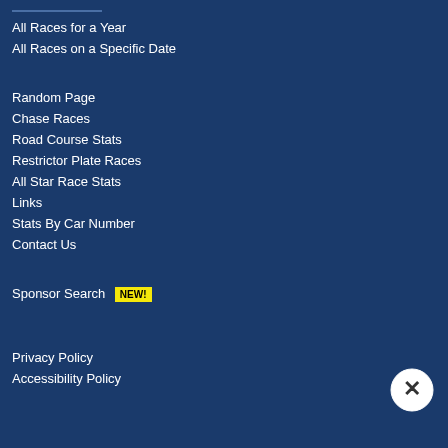All Races for a Year
All Races on a Specific Date
Random Page
Chase Races
Road Course Stats
Restrictor Plate Races
All Star Race Stats
Links
Stats By Car Number
Contact Us
Sponsor Search NEW!
Privacy Policy
Accessibility Policy